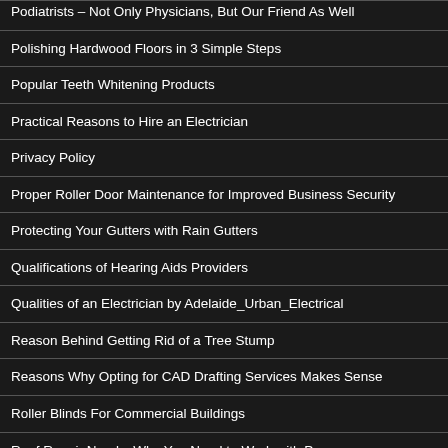Podiatrists – Not Only Physicians, But Our Friend As Well
Polishing Hardwood Floors in 3 Simple Steps
Popular Teeth Whitening Products
Practical Reasons to Hire an Electrician
Privacy Policy
Proper Roller Door Maintenance for Improved Business Security
Protecting Your Gutters with Rain Gutters
Qualifications of Hearing Aids Providers
Qualities of an Electrician by Adelaide_Urban_Electrical
Reason Behind Getting Rid of a Tree Stump
Reasons Why Opting for CAD Drafting Services Makes Sense
Roller Blinds For Commercial Buildings
Roof Repair Needs: Why You Need to Work with Pros